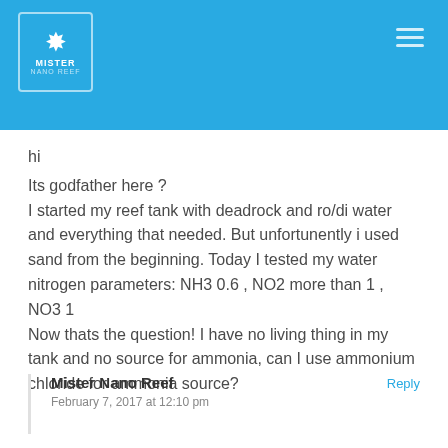[Figure (logo): Mister Nano Reef logo on blue header bar with hamburger menu icon]
hi
Its godfather here ?
I started my reef tank with deadrock and ro/di water and everything that needed. But unfortunently i used sand from the beginning. Today I tested my water nitrogen parameters: NH3 0.6 , NO2 more than 1 , NO3 1
Now thats the question! I have no living thing in my tank and no source for ammonia, can I use ammonium chloride for ammonia source?
Mister Nano Reef
February 7, 2017 at 12:10 pm
Reply